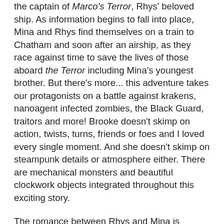the captain of Marco's Terror, Rhys' beloved ship. As information begins to fall into place, Mina and Rhys find themselves on a train to Chatham and soon after an airship, as they race against time to save the lives of those aboard the Terror including Mina's youngest brother. But there's more... this adventure takes our protagonists on a battle against krakens, nanoagent infected zombies, the Black Guard, traitors and more! Brooke doesn't skimp on action, twists, turns, friends or foes and I loved every single moment. And she doesn't skimp on steampunk details or atmosphere either. There are mechanical monsters and beautiful clockwork objects integrated throughout this exciting story.
The romance between Rhys and Mina is developed throughout their adventure. Rhys first sees Mina as someone that he would like to possess, and pretty quickly his lust turns to admiration and slowly to love. His willingness to do whatever it takes to keep her in his life goes a long way, especially after my initial impressions of him. Mina's admiration for Rhys suffers, she must take him down from the pedestal where she placed him as a hero, to then admire